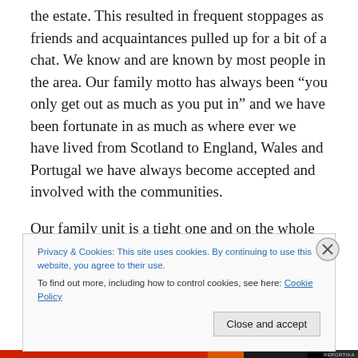the estate.  This resulted in frequent stoppages as friends and acquaintances pulled up for a bit of a chat.  We know and are known by most people in the area.  Our family motto has always been “you only get out as much as you put in” and we have been fortunate in as much as where ever we have lived from Scotland to England, Wales and Portugal we have always become accepted and involved with the communities.
Our family unit is a tight one and on the whole contentment reigns.  I find this remarkable due to the
Privacy & Cookies: This site uses cookies. By continuing to use this website, you agree to their use.
To find out more, including how to control cookies, see here: Cookie Policy